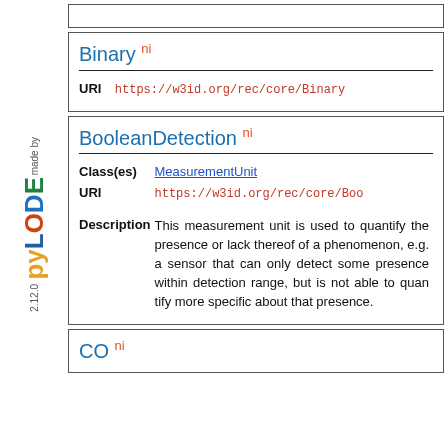[Figure (logo): pyLODE 2.12.0 logo on sidebar]
Binary ni
URI https://w3id.org/rec/core/Binary
BooleanDetection ni
Class(es) MeasurementUnit
URI https://w3id.org/rec/core/BooleanDetection
Description This measurement unit is used to quantify the presence or lack thereof of a phenomenon, e.g. a sensor that can only detect some presence within detection range, but is not able to quantify more specific about that presence.
CO ni